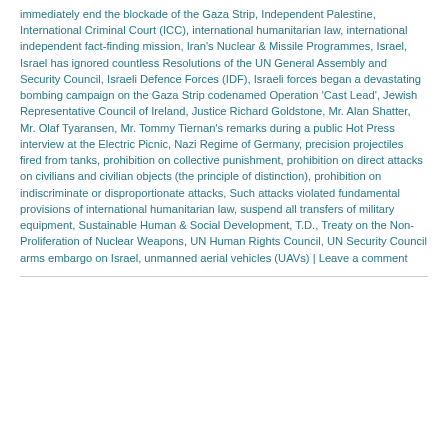immediately end the blockade of the Gaza Strip, Independent Palestine, International Criminal Court (ICC), international humanitarian law, international independent fact-finding mission, Iran's Nuclear & Missile Programmes, Israel, Israel has ignored countless Resolutions of the UN General Assembly and Security Council, Israeli Defence Forces (IDF), Israeli forces began a devastating bombing campaign on the Gaza Strip codenamed Operation 'Cast Lead', Jewish Representative Council of Ireland, Justice Richard Goldstone, Mr. Alan Shatter, Mr. Olaf Tyaransen, Mr. Tommy Tiernan's remarks during a public Hot Press interview at the Electric Picnic, Nazi Regime of Germany, precision projectiles fired from tanks, prohibition on collective punishment, prohibition on direct attacks on civilians and civilian objects (the principle of distinction), prohibition on indiscriminate or disproportionate attacks, Such attacks violated fundamental provisions of international humanitarian law, suspend all transfers of military equipment, Sustainable Human & Social Development, T.D., Treaty on the Non-Proliferation of Nuclear Weapons, UN Human Rights Council, UN Security Council arms embargo on Israel, unmanned aerial vehicles (UAVs) | Leave a comment